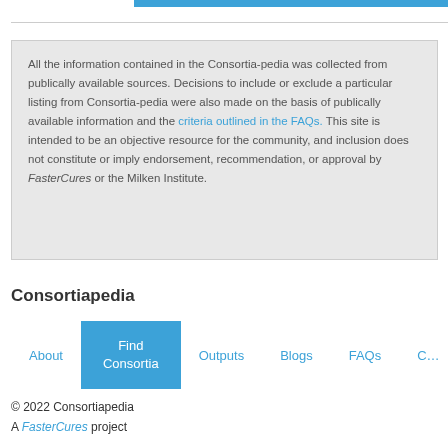All the information contained in the Consortia-pedia was collected from publically available sources. Decisions to include or exclude a particular listing from Consortia-pedia were also made on the basis of publically available information and the criteria outlined in the FAQs. This site is intended to be an objective resource for the community, and inclusion does not constitute or imply endorsement, recommendation, or approval by FasterCures or the Milken Institute.
Consortiapedia
About | Find Consortia | Outputs | Blogs | FAQs | Co...
© 2022 Consortiapedia
A FasterCures project